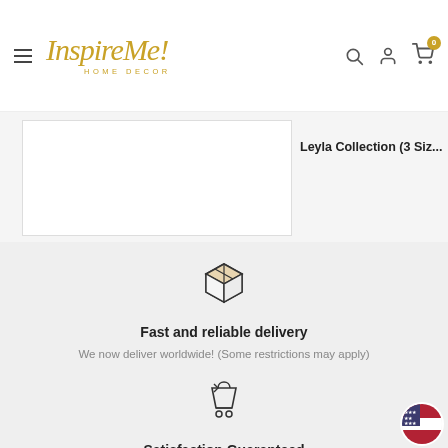InspireMe! HOME DECOR — navigation bar with hamburger, logo, search, account, cart (0)
Leyla Collection (3 Siz…
[Figure (illustration): Box/package icon representing fast and reliable delivery]
Fast and reliable delivery
We now deliver worldwide! (Some restrictions may apply)
[Figure (illustration): Return shopping cart icon representing satisfaction guaranteed]
Satisfaction Guaranteed
We are obsessed with your satisfaction.